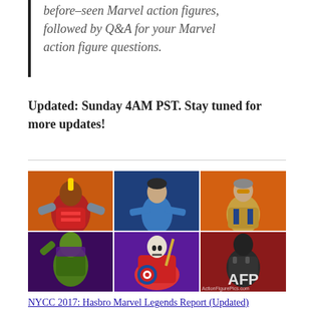before-seen Marvel action figures, followed by Q&A for your Marvel action figure questions.
Updated: Sunday 4AM PST. Stay tuned for more updates!
[Figure (photo): Grid of 6 Marvel Legends action figures: top row shows three heroes (Colossus-like figure, blue-suited figure, and a tan-jacketed character); bottom row shows three villains/characters (green villain, hooded figure with skull face holding a sword and shield, and a dark tactical figure). AFP watermark visible.]
NYCC 2017: Hasbro Marvel Legends Report (Updated)